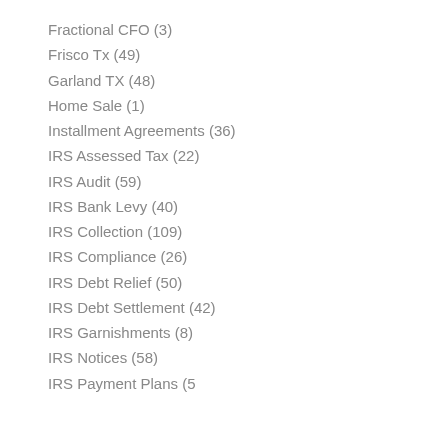Fractional CFO (3)
Frisco Tx (49)
Garland TX (48)
Home Sale (1)
Installment Agreements (36)
IRS Assessed Tax (22)
IRS Audit (59)
IRS Bank Levy (40)
IRS Collection (109)
IRS Compliance (26)
IRS Debt Relief (50)
IRS Debt Settlement (42)
IRS Garnishments (8)
IRS Notices (58)
IRS Payment Plans (?)